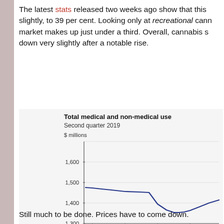The latest stats released two weeks ago show that this slightly, to 39 per cent. Looking only at recreational cann market makes up just under a third. Overall, cannabis s down very slightly after a notable rise.
[Figure (line-chart): Total medical and non-medical use]
Still much to be done. Prices have to come down.